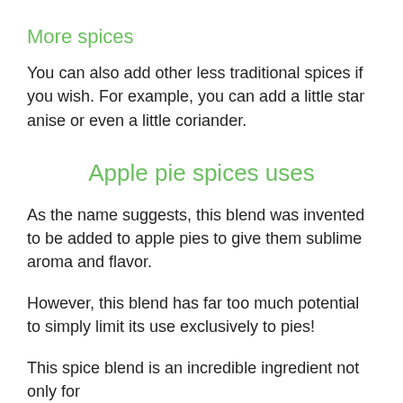More spices
You can also add other less traditional spices if you wish. For example, you can add a little star anise or even a little coriander.
Apple pie spices uses
As the name suggests, this blend was invented to be added to apple pies to give them sublime aroma and flavor.
However, this blend has far too much potential to simply limit its use exclusively to pies!
This spice blend is an incredible ingredient not only for